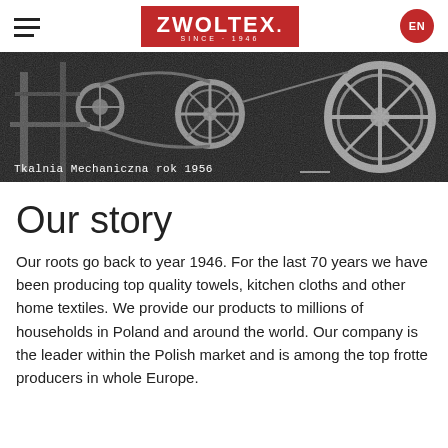ZWOLTEX SINCE 1946 | EN
[Figure (photo): Black and white historical photograph of mechanical weaving machinery, with caption 'Tkalnia Mechaniczna rok 1956']
Tkalnia Mechaniczna rok 1956
Our story
Our roots go back to year 1946. For the last 70 years we have been producing top quality towels, kitchen cloths and other home textiles. We provide our products to millions of households in Poland and around the world. Our company is the leader within the Polish market and is among the top frotte producers in whole Europe.